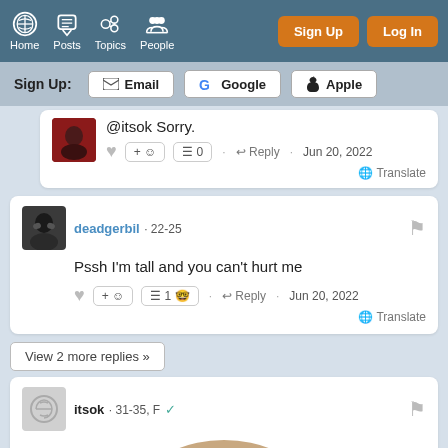Home Posts Topics People | Sign Up | Log In
Sign Up: Email | Google | Apple
@itsok Sorry.
Reply · Jun 20, 2022 Translate
deadgerbil · 22-25
Pssh I'm tall and you can't hurt me
Reply · Jun 20, 2022 Translate
View 2 more replies »
itsok · 31-35, F